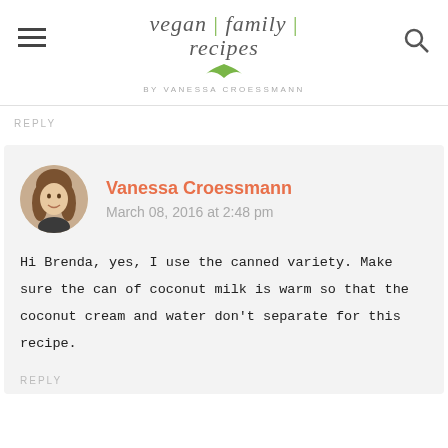vegan | family | recipes BY VANESSA CROESSMANN
REPLY
Vanessa Croessmann
March 08, 2016 at 2:48 pm

Hi Brenda, yes, I use the canned variety. Make sure the can of coconut milk is warm so that the coconut cream and water don't separate for this recipe.
REPLY